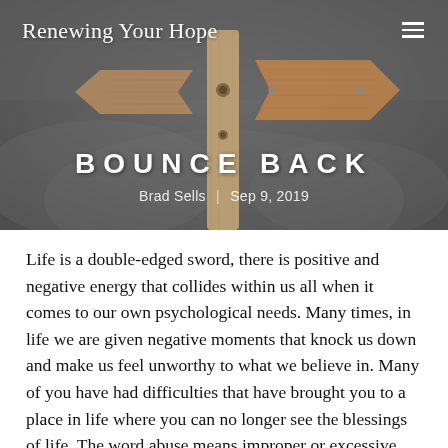Renewing Your Hope
[Figure (photo): Wooden directional signpost against a cloudy grey mountain background, serving as hero image for the blog post]
BOUNCE BACK
Brad Sells  |  Sep 9, 2019
Life is a double-edged sword, there is positive and negative energy that collides within us all when it comes to our own psychological needs. Many times, in life we are given negative moments that knock us down and make us feel unworthy to what we believe in. Many of you have had difficulties that have brought you to a place in life where you can no longer see the blessings of life. The word abuse means improper or excessive use of treatment or force, and